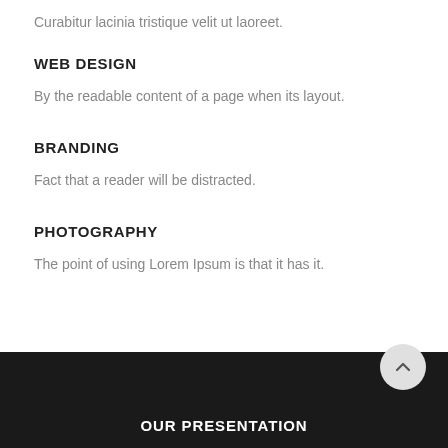Curabitur lacinia tristique velit ut laoreet.
WEB DESIGN
By the readable content of a page when its layout.
BRANDING
Fact that a reader will be distracted.
PHOTOGRAPHY
The point of using Lorem Ipsum is that it has it.
OUR PRESENTATION